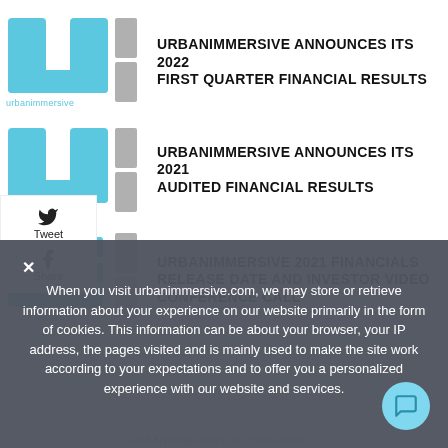[Figure (logo): Urbanimmersive logo - teal/cyan U-shaped mark with 'urbanimmersive' text and gray vertical bar]
URBANIMMERSIVE ANNOUNCES ITS 2022 FIRST QUARTER FINANCIAL RESULTS
[Figure (logo): Urbanimmersive logo - teal/cyan U-shaped mark with 'urbanimmersive' text and gray vertical bar]
URBANIMMERSIVE ANNOUNCES ITS 2021 AUDITED FINANCIAL RESULTS
[Figure (logo): Urbanimmersive logo - teal/cyan horizontal bars with gray vertical bar]
URBANIMMERSIVE 2021 FINANCIALS RELEASE DATE AND INVESTOR VIDEO CONFERENCE CALL
When you visit urbanimmersive.com, we may store or retrieve information about your experience on our website primarily in the form of cookies. This information can be about your browser, your IP address, the pages visited and is mainly used to make the site work according to your expectations and to offer you a personalized experience with our website and services.